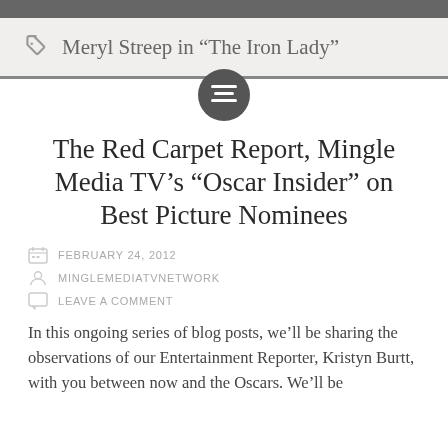Meryl Streep in “The Iron Lady”
The Red Carpet Report, Mingle Media TV’s “Oscar Insider” on Best Picture Nominees
FEBRUARY 24, 2012
MINGLEMEDIATVNETWORK
LEAVE A COMMENT
In this ongoing series of blog posts, we’ll be sharing the observations of our Entertainment Reporter, Kristyn Burtt, with you between now and the Oscars. We’ll be